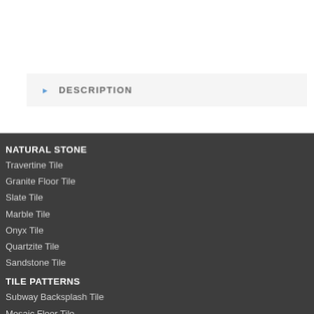DESCRIPTION
NATURAL STONE
Travertine Tile
Granite Floor Tile
Slate Tile
Marble Tile
Onyx Tile
Quartzite Tile
Sandstone Tile
TILE PATTERNS
Subway Backsplash Tile
Mosaic Floor Tile
Hexagon Tile
Herringbone Tile
Chair Rail Molding